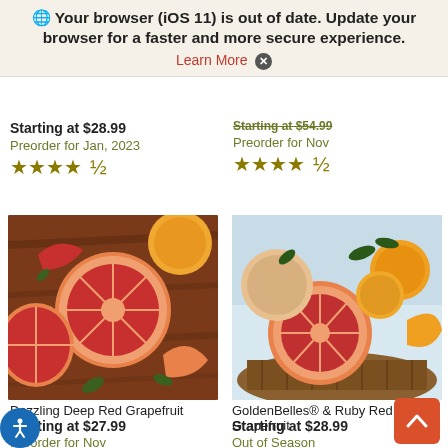🌐 Your browser (iOS 11) is out of date. Update your browser for a faster and more secure experience. Learn More ✕
Starting at $28.99
Preorder for Jan, 2023
★★★★½
Starting at $54.99
Preorder for Nov
★★★★½
[Figure (photo): Dazzling Deep Red Grapefruit — sliced red grapefruits on a wooden background]
Dazzling Deep Red Grapefruit
Starting at $27.99
Preorder for Nov
★★★★½
[Figure (photo): GoldenBelles® & Ruby Red Grapefruit — mixed grapefruits and oranges in a basket]
GoldenBelles® & Ruby Red Grapefruit
Starting at $28.99
Out of Season
★★★★½